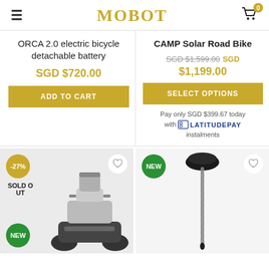MOBOT
ORCA 2.0 electric bicycle detachable battery
SGD $720.00
ADD TO CART
CAMP Solar Road Bike
SGD $1,599.00 SGD $1,199.00
SELECT OPTIONS
Pay only SGD $399.67 today with LATITUDEPAY instalments
[Figure (photo): Electric wheelchair/mobility scooter with grey seat, sold out, -27% badge, NEW badge]
[Figure (photo): Walking cane/stick with black handle, NEW badge]